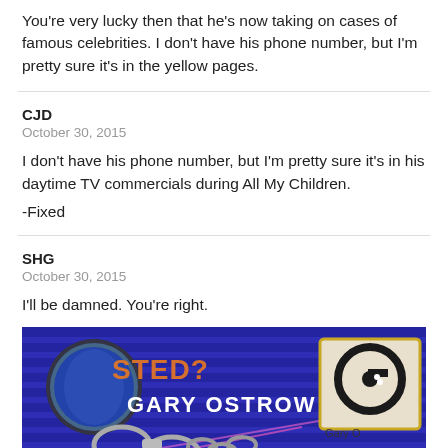You're very lucky then that he's now taking on cases of famous celebrities. I don't have his phone number, but I'm pretty sure it's in the yellow pages.
CJD
October 30, 2015

I don't have his phone number, but I'm pretty sure it's in his daytime TV commercials during All My Children.

-Fixed
SHG
October 30, 2015

I'll be damned. You're right.
[Figure (photo): Screenshot of a TV commercial for Gary Ostrow, showing handcuffs and the text 'GARY OSTROW' with a logo on the right side.]